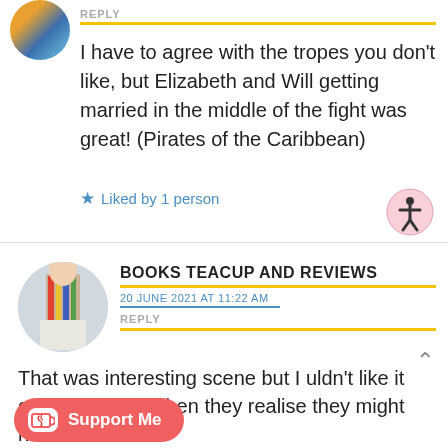[Figure (photo): Round avatar with colorful abstract art (blue, gold, teal)]
REPLY
I have to agree with the tropes you don't like, but Elizabeth and Will getting married in the middle of the fight was great! (Pirates of the Caribbean)
★ Liked by 1 person
[Figure (logo): Accessibility icon — person in circle, pink background]
BOOKS TEACUP AND REVIEWS
20 JUNE 2021 AT 11:22 AM
REPLY
[Figure (photo): Round avatar showing person holding books in front of bookshelf]
That was interesting scene but I uldn't like it generally. Just when they realise they might not